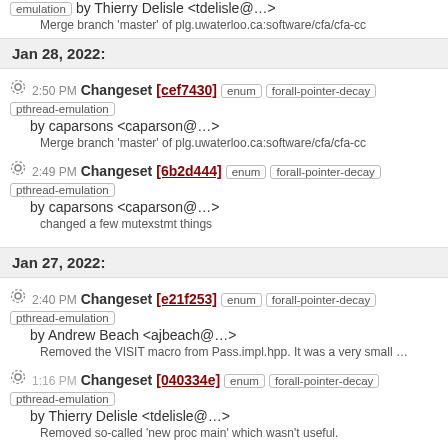emulation by Thierry Delisle <tdelisle@…>
Merge branch 'master' of plg.uwaterloo.ca:software/cfa/cfa-cc
Jan 28, 2022:
2:50 PM Changeset [cef7430] enum forall-pointer-decay pthread-emulation by caparsons <caparson@…>
Merge branch 'master' of plg.uwaterloo.ca:software/cfa/cfa-cc
2:49 PM Changeset [6b2d444] enum forall-pointer-decay pthread-emulation by caparsons <caparson@…>
changed a few mutexstmt things
Jan 27, 2022:
2:40 PM Changeset [e21f253] enum forall-pointer-decay pthread-emulation by Andrew Beach <ajbeach@…>
Removed the VISIT macro from Pass.impl.hpp. It was a very small …
1:16 PM Changeset [040334e] enum forall-pointer-decay pthread-emulation by Thierry Delisle <tdelisle@…>
Removed so-called 'new proc main' which wasn't useful.
9:37 AM Changeset [00a8e19] enum forall-pointer-decay pthread-emulation by Andrew Beach <ajbeach@…>
Missed one required file for the validate D changes. I think it was an